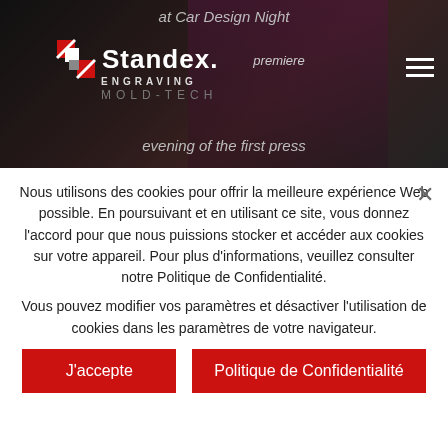[Figure (screenshot): Standex Engraving Mold-Tech website header banner with dark background showing car design image and text 'at Car Design Night', 'ENGRAVING', 'evening of the first press' with Standex logo and hamburger menu]
Nous utilisons des cookies pour offrir la meilleure expérience Web possible. En poursuivant et en utilisant ce site, vous donnez l'accord pour que nous puissions stocker et accéder aux cookies sur votre appareil. Pour plus d'informations, veuillez consulter notre Politique de Confidentialité.
Vous pouvez modifier vos paramètres et désactiver l'utilisation de cookies dans les paramètres de votre navigateur.
J'accepte
Politique de Confidentialité